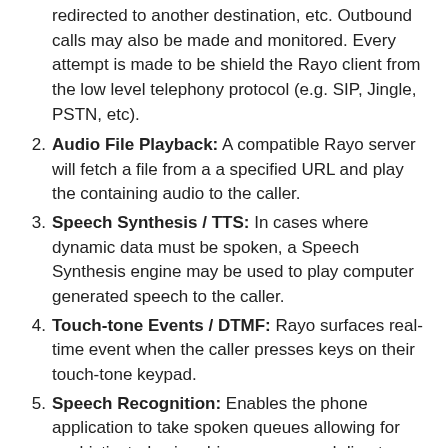redirected to another destination, etc. Outbound calls may also be made and monitored. Every attempt is made to be shield the Rayo client from the low level telephony protocol (e.g. SIP, Jingle, PSTN, etc).
Audio File Playback: A compatible Rayo server will fetch a file from a a specified URL and play the containing audio to the caller.
Speech Synthesis / TTS: In cases where dynamic data must be spoken, a Speech Synthesis engine may be used to play computer generated speech to the caller.
Touch-tone Events / DTMF: Rayo surfaces real-time event when the caller presses keys on their touch-tone keypad.
Speech Recognition: Enables the phone application to take spoken queues allowing for sophisticated voice-driven menus and directory services.
Call Recording: Can be used to capture the caller's voice (e.g. Voicemail) or both sides of the call for